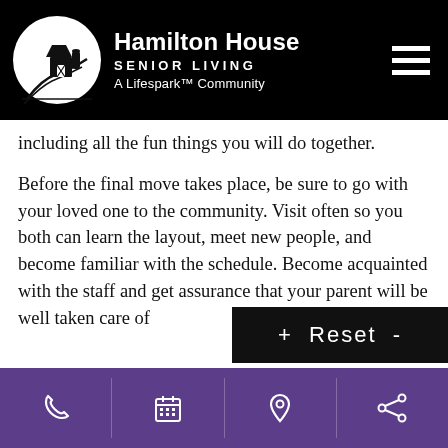Hamilton House Senior Living — A Lifespark™ Community
including all the fun things you will do together.
Before the final move takes place, be sure to go with your loved one to the community. Visit often so you both can learn the layout, meet new people, and become familiar with the schedule. Become acquainted with the staff and get assurance that your parent will be well taken care of
+ Reset -